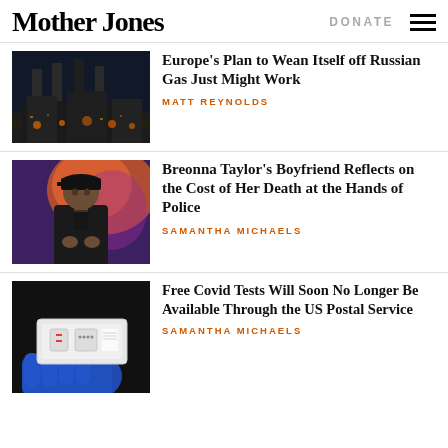Mother Jones  DONATE
[Figure (photo): Industrial facility with tall smokestacks lit up at night]
Europe's Plan to Wean Itself off Russian Gas Just Might Work
MATT REYNOLDS
[Figure (photo): A man in a black cap and hoodie standing in front of a colorful mural]
Breonna Taylor's Boyfriend Reflects on the Cost of Her Death at the Hands of Police
SAMANTHA MICHAELS
[Figure (photo): A gloved hand holding a Covid rapid antigen test kit]
Free Covid Tests Will Soon No Longer Be Available Through the US Postal Service
SAMANTHA MICHAELS